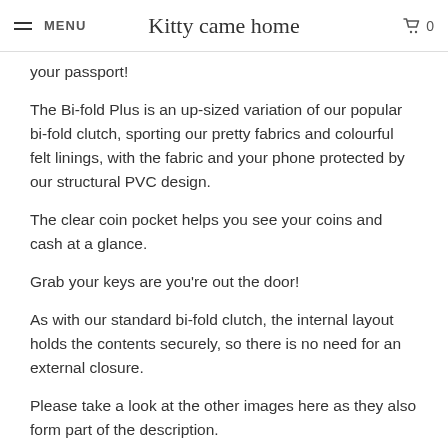MENU | Kitty came home | 0
your passport!
The Bi-fold Plus is an up-sized variation of our popular bi-fold clutch, sporting our pretty fabrics and colourful felt linings, with the fabric and your phone protected by our structural PVC design.
The clear coin pocket helps you see your coins and cash at a glance.
Grab your keys are you're out the door!
As with our standard bi-fold clutch, the internal layout holds the contents securely, so there is no need for an external closure.
Please take a look at the other images here as they also form part of the description.